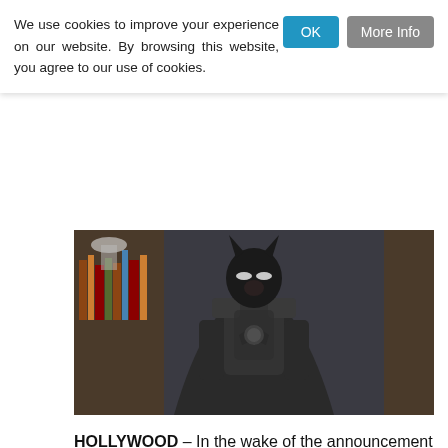We use cookies to improve your experience on our website. By browsing this website, you agree to our use of cookies.
[Figure (photo): A person in Batman costume with dark armored suit and cowl, standing in a dimly lit room with bookshelves in the background.]
HOLLYWOOD – In the wake of the announcement for the run time of the upcoming The Batman at just short of 3 hours, federal lawmakers have stepped in to put a stop to this ass-numbing madness. Movie run times will be regulated by a centralized federal task force as of September 2022...